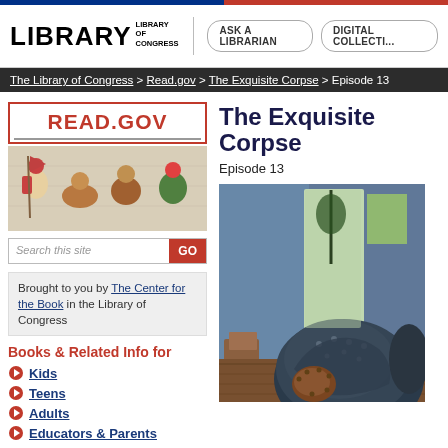LIBRARY OF CONGRESS
The Library of Congress > Read.gov > The Exquisite Corpse > Episode 13
READ.GOV
[Figure (illustration): Banner image with illustrated fantasy/carnival characters including people in costumes]
Search this site
Brought to you by The Center for the Book in the Library of Congress
Books & Related Info for
Kids
Teens
Adults
Educators & Parents
The Exquisite Corpse
Episode 13
[Figure (illustration): Illustrated scene showing a large mechanical armored figure or robot near a doorway with blue walls and crates]